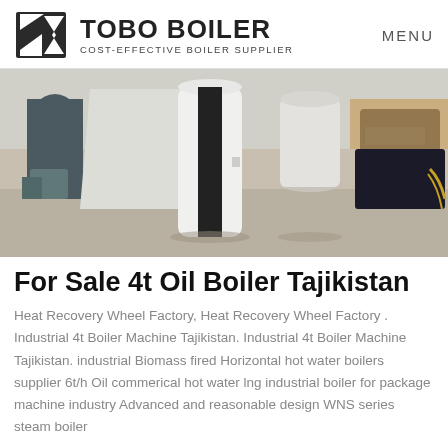TOBO BOILER COST-EFFECTIVE BOILER SUPPLIER | MENU
[Figure (photo): Industrial boilers in a warehouse/factory setting. A tall white cylindrical boiler and black boiler unit stand on the floor alongside industrial machinery and packaging materials.]
For Sale 4t Oil Boiler Tajikistan
Heat Recovery Wheel Factory, Heat Recovery Wheel Factory . Industrial 4t Boiler Machine Tajikistan. Industrial 4t Boiler Machine Tajikistan. industrial Biomass fired Horizontal hot water boilers supplier 6t/h Oil commerical hot water lng industrial boiler for package machine industry Advanced and reasonable design WNS series steam boiler